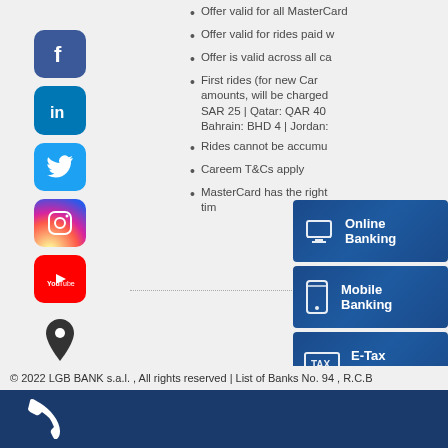Offer valid for all MasterCard...
Offer valid for rides paid w...
Offer is valid across all ca...
First rides (for new Careem users), amounts, will be charged... SAR 25 | Qatar: QAR 40 | Bahrain: BHD 4 | Jordan: ...
Rides cannot be accumu...
Careem T&Cs apply
MasterCard has the right... tim...
[Figure (infographic): Facebook social media icon - blue rounded square with white F]
[Figure (infographic): LinkedIn social media icon - blue rounded square with white in]
[Figure (infographic): Twitter social media icon - light blue rounded square with white bird]
[Figure (infographic): Instagram social media icon - gradient rounded square with camera]
[Figure (infographic): YouTube social media icon - red rounded square with white play button]
[Figure (infographic): Location pin icon]
[Figure (infographic): Email envelope icon]
[Figure (infographic): Online Banking button with monitor icon]
[Figure (infographic): Mobile Banking button with phone icon]
[Figure (infographic): E-Tax Payment button with TAX box icon]
[Figure (infographic): Mobile Payment button with phone and wifi icon]
© 2022 LGB BANK s.a.l. , All rights reserved | List of Banks No. 94 , R.C.B
[Figure (infographic): Phone icon on dark blue bar at bottom]